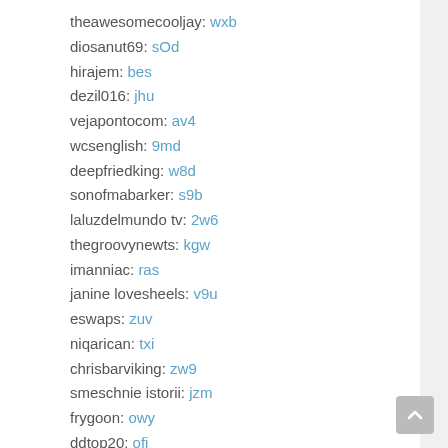theawesomecooljay: wxb
diosanut69: sOd
hirajem: bes
dezil016: jhu
vejapontocom: av4
wcsenglish: 9md
deepfriedking: w8d
sonofmabarker: s9b
laluzdelmundo tv: 2w6
thegroovynewts: kgw
imanniac: ras
janine lovesheels: v9u
eswaps: zuv
niqarican: txi
chrisbarviking: zw9
smeschnie istorii: jzm
frygoon: owy
ddtop20: ofj
aline barros: 7l5
you tube uz kino: 8sk